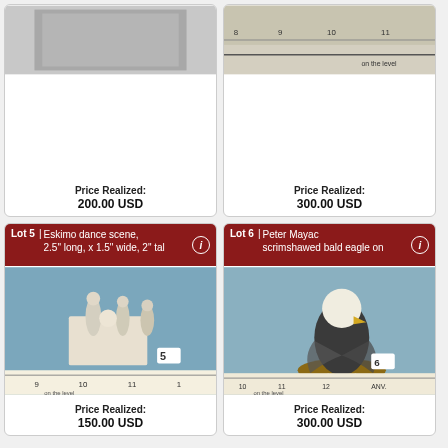[Figure (photo): Auction lot item photo (top-left card, partial view)]
Price Realized:
200.00 USD
[Figure (photo): Auction lot item photo (top-right card, partial view)]
Price Realized:
300.00 USD
Lot 5 | Eskimo dance scene, 2.5" long, x 1.5" wide, 2" tal
[Figure (photo): Photo of Eskimo dance scene figurine on white base with ruler]
Price Realized:
150.00 USD
Lot 6 | Peter Mayac scrimshawed bald eagle on
[Figure (photo): Photo of scrimshawed bald eagle figurine on wooden base with ruler]
Price Realized:
300.00 USD